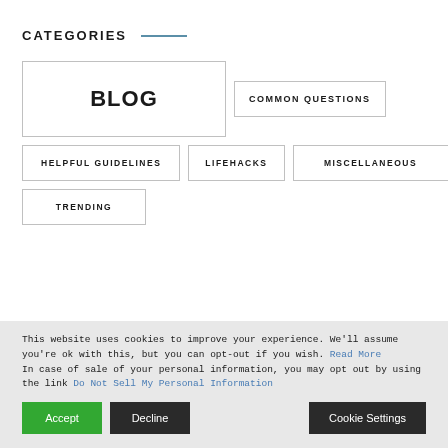CATEGORIES
BLOG
COMMON QUESTIONS
HELPFUL GUIDELINES
LIFEHACKS
MISCELLANEOUS
TRENDING
This website uses cookies to improve your experience. We'll assume you're ok with this, but you can opt-out if you wish. Read More In case of sale of your personal information, you may opt out by using the link Do Not Sell My Personal Information